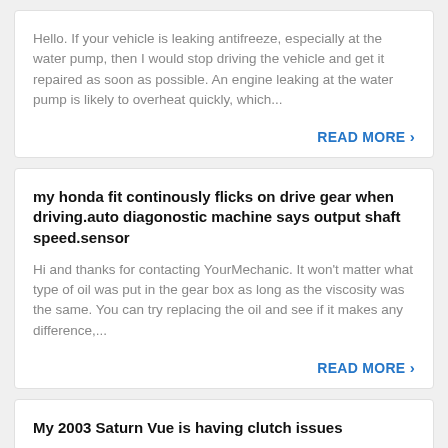Hello. If your vehicle is leaking antifreeze, especially at the water pump, then I would stop driving the vehicle and get it repaired as soon as possible. An engine leaking at the water pump is likely to overheat quickly, which...
READ MORE ›
my honda fit continously flicks on drive gear when driving.auto diagonostic machine says output shaft speed.sensor
Hi and thanks for contacting YourMechanic. It won't matter what type of oil was put in the gear box as long as the viscosity was the same. You can try replacing the oil and see if it makes any difference,...
READ MORE ›
My 2003 Saturn Vue is having clutch issues